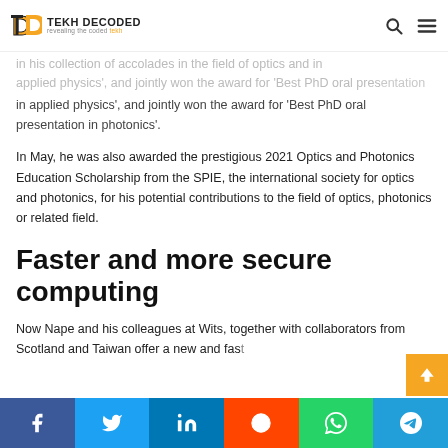Tekh Decoded – revealing the coded tekh
in his collection of accolades in the field of optics and in applied physics', and jointly won the award for 'Best PhD oral presentation in applied physics', and jointly won the award for 'Best PhD oral presentation in photonics'.
In May, he was also awarded the prestigious 2021 Optics and Photonics Education Scholarship from the SPIE, the international society for optics and photonics, for his potential contributions to the field of optics, photonics or related field.
Faster and more secure computing
Now Nape and his colleagues at Wits, together with collaborators from Scotland and Taiwan offer a new and fast...